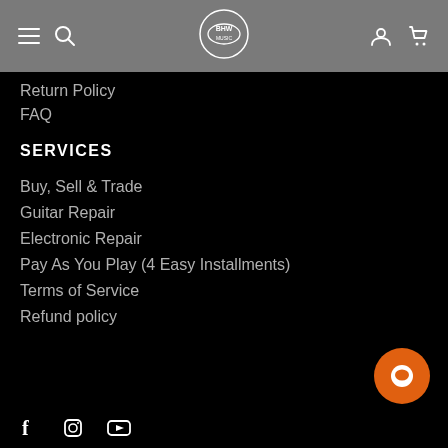Navigation bar with hamburger menu, search, logo, account and cart icons
Return Policy
FAQ
SERVICES
Buy, Sell & Trade
Guitar Repair
Electronic Repair
Pay As You Play (4 Easy Installments)
Terms of Service
Refund policy
[Figure (illustration): Orange circular chat button with white speech bubble icon]
Social media icons: Facebook, Instagram, YouTube